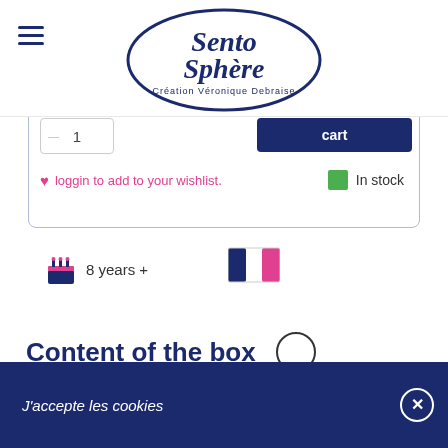[Figure (logo): SentoSphère logo — oval border with brand name and tagline 'Création Véronique Debraise']
loggin to add to your wishlist.
In stock
8 years +
[Figure (illustration): French flag icon (blue, white, pink/red stripes)]
Content of the box
8 fragrance raw materials
scent blotters
J'accepte les cookies